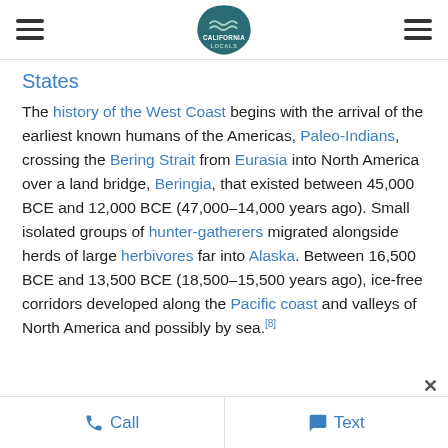California Locals (logo with hamburger menus)
States
The history of the West Coast begins with the arrival of the earliest known humans of the Americas, Paleo-Indians, crossing the Bering Strait from Eurasia into North America over a land bridge, Beringia, that existed between 45,000 BCE and 12,000 BCE (47,000–14,000 years ago). Small isolated groups of hunter-gatherers migrated alongside herds of large herbivores far into Alaska. Between 16,500 BCE and 13,500 BCE (18,500–15,500 years ago), ice-free corridors developed along the Pacific coast and valleys of North America and possibly by sea.[8]
Call   Text